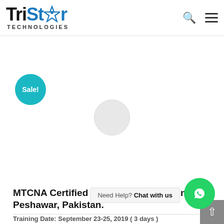[Figure (logo): TriStar Technologies logo with blue star icon and 'TECHNOLOGIES' subtitle]
[Figure (illustration): Sale! badge — teal circular badge with white text]
[Figure (photo): Product image area with a gray loading spinner circle in the center]
MTCNA Certified Training and Exam in Peshawar, Pakistan.
Training Date: September 23-25, 2019 ( 3 days )